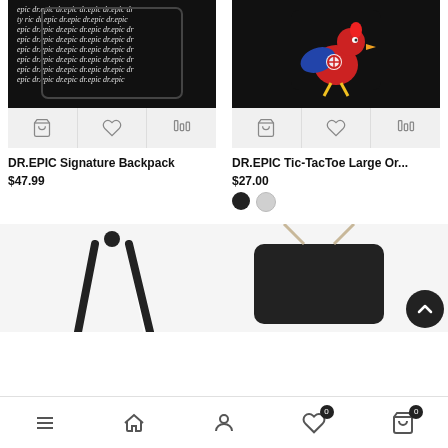[Figure (photo): DR.EPIC Signature Backpack product image - black bag with repeating cursive 'epic' pattern text]
[Figure (photo): DR.EPIC Tic-TacToe Large Organizer product image - black bag with colorful rooster/chicken graphic]
DR.EPIC Signature Backpack
$47.99
DR.EPIC Tic-TacToe Large Or...
$27.00
[Figure (photo): Bottom partial view of a black drawstring-style backpack with black straps]
[Figure (photo): Bottom partial view of a black bag/organizer with cord drawstring and scroll-to-top button overlay]